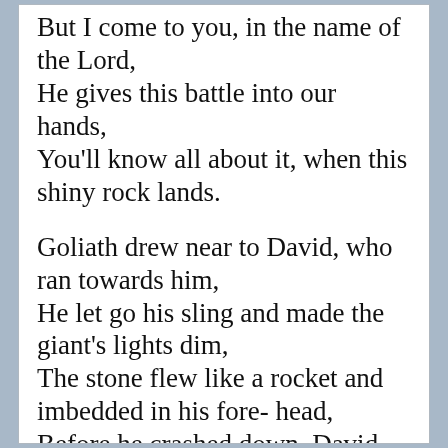But I come to you, in the name of the Lord,
He gives this battle into our hands,
You'll know all about it, when this shiny rock lands.
Goliath drew near to David, who ran towards him,
He let go his sling and made the giant's lights dim,
The stone flew like a rocket and imbedded in his fore- head,
Before he crashed down, David knew he was for sure- dead.